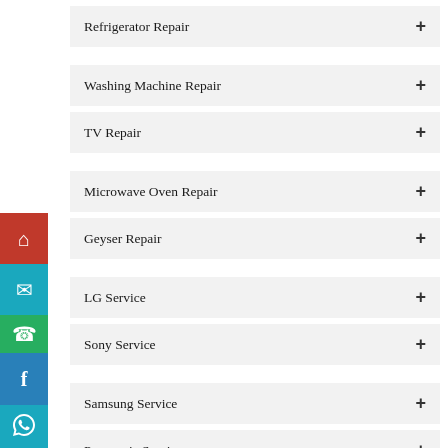Refrigerator Repair
Washing Machine Repair
TV Repair
Microwave Oven Repair
Geyser Repair
LG Service
Sony Service
Samsung Service
Panasonic Service